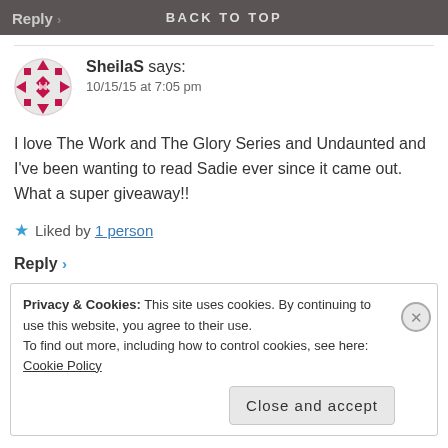Reply > BACK TO TOP
SheilaS says:
10/15/15 at 7:05 pm
I love The Work and The Glory Series and Undaunted and I've been wanting to read Sadie ever since it came out. What a super giveaway!!
★ Liked by 1 person
Reply >
Privacy & Cookies: This site uses cookies. By continuing to use this website, you agree to their use.
To find out more, including how to control cookies, see here: Cookie Policy
Close and accept